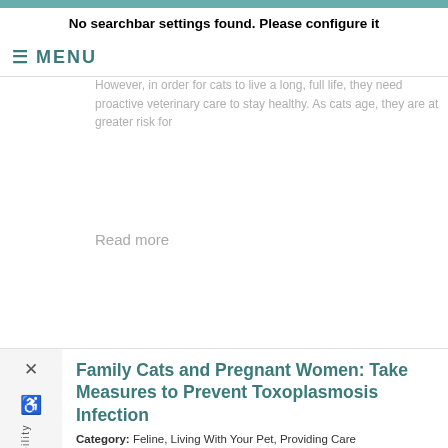No searchbar settings found. Please configure it
MENU
However, in order for cats to live a long, full life, they need proactive veterinary care to stay healthy. As cats age, they are at greater risk for
Read more
Family Cats and Pregnant Women: Take Measures to Prevent Toxoplasmosis Infection
Category: Feline, Living With Your Pet, Providing Care
[Figure (photo): A cat resting against the belly of a pregnant woman wearing a teal top, against a blue background]
Nothing must spoil the joys of becoming a new parent. Not even your pets. But family cats with